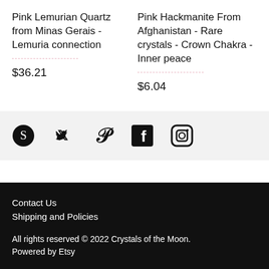Pink Lemurian Quartz from Minas Gerais - Lemuria connection
Pink Hackmanite From Afghanistan - Rare crystals - Crown Chakra - Inner peace
$36.21
$6.04
[Figure (infographic): Social media icons: Scribd/globe, Twitter bird, Pinterest P, Facebook f, Instagram camera]
Contact Us
Shipping and Policies

All rights reserved © 2022 Crystals of the Moon.
Powered by Etsy